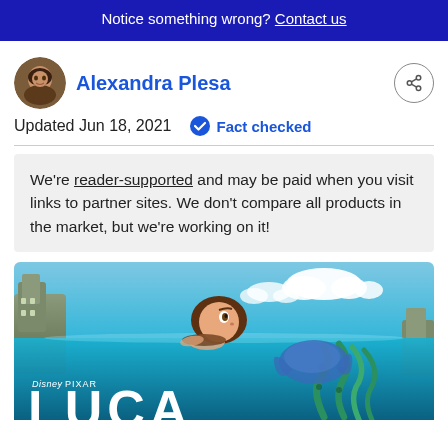Notice something wrong? Contact us
Alexandra Plesa
Updated Jun 18, 2021   Fact checked
We're reader-supported and may be paid when you visit links to partner sites. We don't compare all products in the market, but we're working on it!
[Figure (photo): Disney Pixar Luca movie promotional image showing a girl swimming at the water surface with sea creature tentacles visible below, rocks and clouds in background, with Disney Pixar LUCA title text]